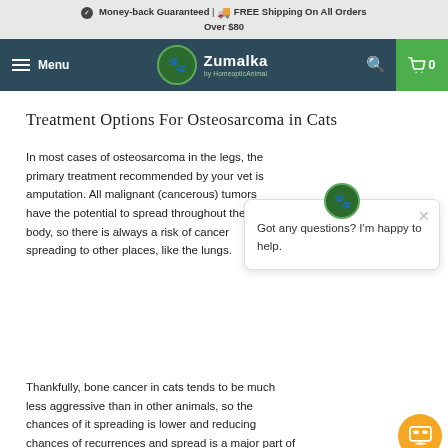Money-back Guaranteed | FREE Shipping On All Orders Over $80
[Figure (screenshot): Zumalka website navigation bar with hamburger menu, Zumalka logo (green paw print circle), search icon, and green cart icon showing 0 items]
Treatment Options For Osteosarcoma in Cats
In most cases of osteosarcoma in the legs, the primary treatment recommended by your vet is amputation. All malignant (cancerous) tumors have the potential to spread throughout the body, so there is always a risk of cancer spreading to other places, like the lungs.
[Figure (screenshot): Chat popup overlay with Zumalka paw logo icon at top, close X button, and text: Got any questions? I'm happy to help.]
Thankfully, bone cancer in cats tends to be much less aggressive than in other animals, so the chances of it spreading is lower and reducing chances of recurrences and spread is a major part of